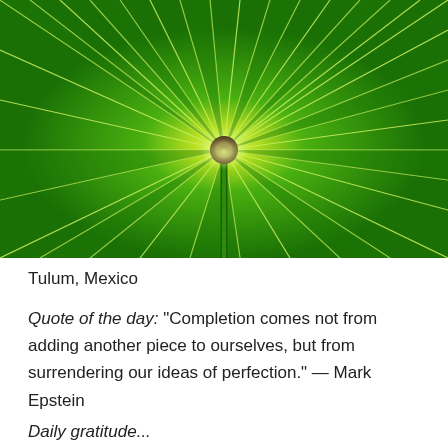[Figure (photo): Close-up photo of a large fan palm leaf from below, with radiating green leaf segments spreading outward from a central stem, backlit with bright yellow-green light at the center.]
Tulum, Mexico
Quote of the day: “Completion comes not from adding another piece to ourselves, but from surrendering our ideas of perfection.”  —  Mark Epstein
Daily gratitude...